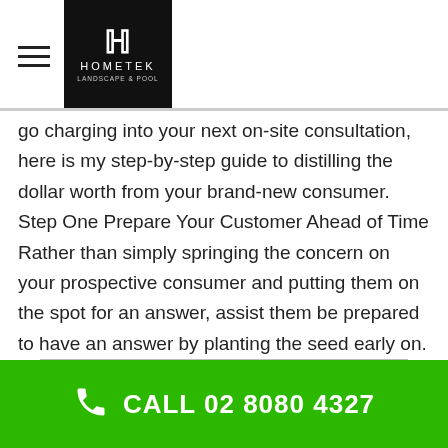HOMETEK
go charging into your next on-site consultation, here is my step-by-step guide to distilling the dollar worth from your brand-new consumer. Step One Prepare Your Customer Ahead of Time Rather than simply springing the concern on your prospective consumer and putting them on the spot for an answer, assist them be prepared to have an answer by planting the seed early on.
Local Landscape Architects & Landscape Designers
CALL 02 8080 4327